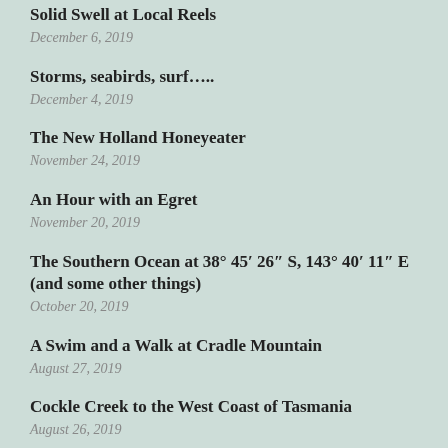Solid Swell at Local Reels
December 6, 2019
Storms, seabirds, surf…..
December 4, 2019
The New Holland Honeyeater
November 24, 2019
An Hour with an Egret
November 20, 2019
The Southern Ocean at 38° 45′ 26″ S, 143° 40′ 11″ E (and some other things)
October 20, 2019
A Swim and a Walk at Cradle Mountain
August 27, 2019
Cockle Creek to the West Coast of Tasmania
August 26, 2019